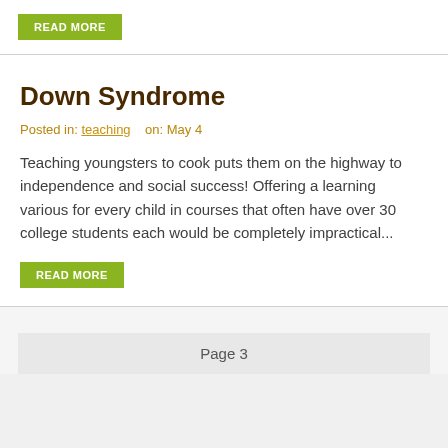READ MORE
Down Syndrome
Posted in: teaching    on: May 4
Teaching youngsters to cook puts them on the highway to independence and social success! Offering a learning various for every child in courses that often have over 30 college students each would be completely impractical...
READ MORE
Page 3